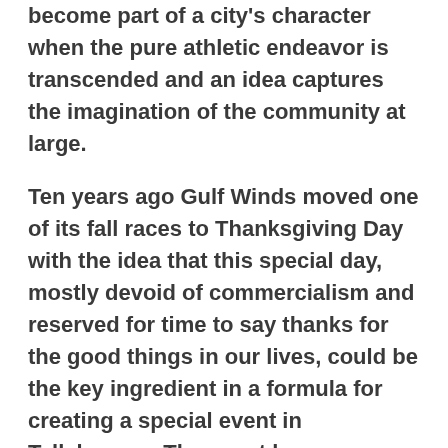become part of a city's character when the pure athletic endeavor is transcended and an idea captures the imagination of the community at large.
Ten years ago Gulf Winds moved one of its fall races to Thanksgiving Day with the idea that this special day, mostly devoid of commercialism and reserved for time to say thanks for the good things in our lives, could be the key ingredient in a formula for creating a special event in Tallahassee. The event has grown steadily since then and 600 to 700 runners participated in each of the last two years. Good, but far short of the potential.
This year, however, there are some special new ingredients. The event has a wonderful new